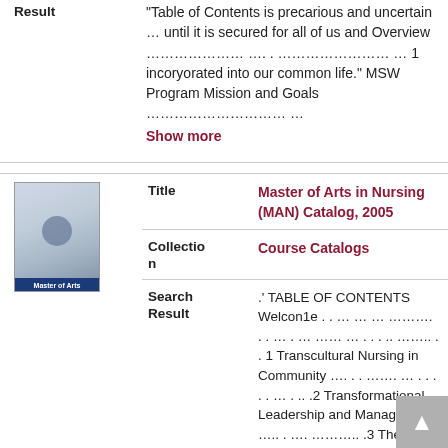Result: Table of Contents is precarious and uncertain ... until it is secured for all of us and Overview ………………… …. . …………………… … 1 incorporated into our common life." MSW Program Mission and Goals ………………………… …
Show more
[Figure (photo): Thumbnail image of Master of Arts in Nursing catalog book cover, showing people in upper portion and blue band at bottom with text 'Master of Arts']
Title: Master of Arts in Nursing (MAN) Catalog, 2005
Collection: Course Catalogs
Search Result: .' TABLE OF CONTENTS Welcon1e . . … … … ………. . . … . … …… … . . . .. …….. . . 1 Transcultural Nursing in Community …. . . ……. … . . . . . … . .. .2 Transformational Leadership and Management ….. . …. ……….. .3 Thesis or Graduate Project …………… Show more